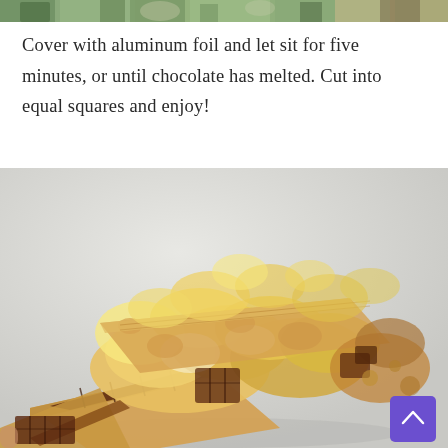[Figure (photo): Partial strip at top of page showing outdoor scene with trees/foliage, cropped to a narrow band]
Cover with aluminum foil and let sit for five minutes, or until chocolate has melted. Cut into equal squares and enjoy!
[Figure (photo): Close-up photo of s'mores bars showing toasted marshmallows, melted chocolate and graham cracker base on a light grey background]